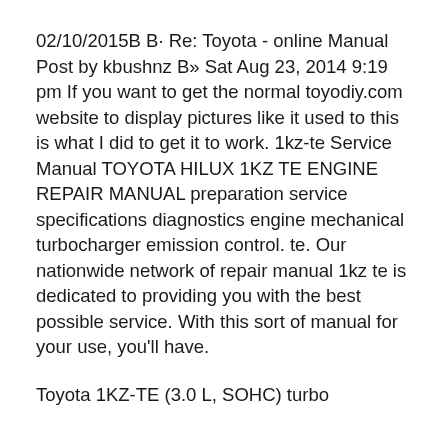02/10/2015B B· Re: Toyota - online Manual Post by kbushnz B» Sat Aug 23, 2014 9:19 pm If you want to get the normal toyodiy.com website to display pictures like it used to this is what I did to get it to work. 1kz-te Service Manual TOYOTA HILUX 1KZ TE ENGINE REPAIR MANUAL preparation service specifications diagnostics engine mechanical turbocharger emission control. te. Our nationwide network of repair manual 1kz te is dedicated to providing you with the best possible service. With this sort of manual for your use, you'll have.
Toyota 1KZ-TE (3.0 L, SOHC) turbo diesel engine specifications